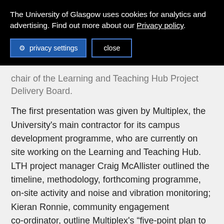The University of Glasgow uses cookies for analytics and advertising. Find out more about our Privacy policy.
privacy settings   close
chair of the Learning and Teaching Hub Project Delivery Board.
The first presentation was given by Multiplex, the University's main contractor for its campus development programme, who are currently on site working on the Learning and Teaching Hub. LTH project manager Craig McAllister outlined the timeline, methodology, forthcoming programme, on-site activity and noise and vibration monitoring; Kieran Ronnie, community engagement co-ordinator, outline Multiplex's “five-point plan to being a good neighbour”.